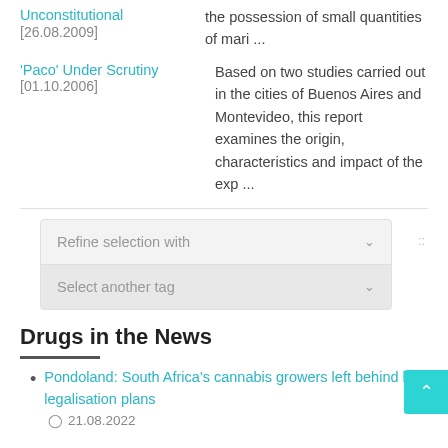Unconstitutional [26.08.2009] | the possession of small quantities of mari ...
'Paco' Under Scrutiny [01.10.2006] | Based on two studies carried out in the cities of Buenos Aires and Montevideo, this report examines the origin, characteristics and impact of the exp ...
Refine selection with
Select another tag
Drugs in the News
Pondoland: South Africa's cannabis growers left behind by legalisation plans
21.08.2022